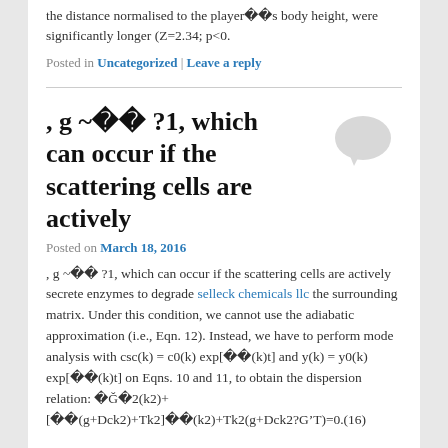the distance normalised to the playerï¿½s body height, were significantly longer (Z=2.34; p<0.
Posted in Uncategorized | Leave a reply
, g ~ï¿½ï¿½ ?1, which can occur if the scattering cells are actively
Posted on March 18, 2016
, g ~ï¿½ï¿½ ?1, which can occur if the scattering cells are actively secrete enzymes to degrade selleck chemicals llc the surrounding matrix. Under this condition, we cannot use the adiabatic approximation (i.e., Eqn. 12). Instead, we have to perform mode analysis with csc(k) = c0(k) exp[ï¿½ï¿½(k)t] and y(k) = y0(k) exp[ï¿½ï¿½(k)t] on Eqns. 10 and 11, to obtain the dispersion relation: ï¿½Gï¿½2(k2)+[ï¿½ï¿½(g+Dck2)+Tk2]ï¿½ï¿½(k2)+Tk2(g+Dck2?G’T)=0.(16)